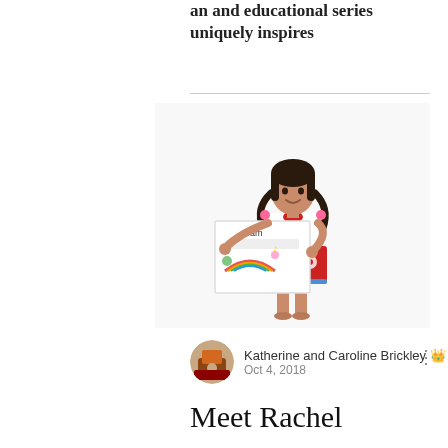an and educational series uniquely inspires
[Figure (photo): A young girl standing and holding a hand-drawn poster with colorful drawings including a rainbow, flowers, and other designs. She is wearing a red dress with white flower designs and has dark hair in pigtails with pink hair accessories.]
Katherine and Caroline Brickley 👑
Oct 4, 2018
Meet Rachel